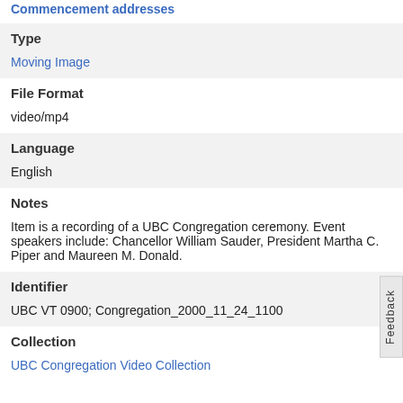Commencement addresses
Type
Moving Image
File Format
video/mp4
Language
English
Notes
Item is a recording of a UBC Congregation ceremony. Event speakers include: Chancellor William Sauder, President Martha C. Piper and Maureen M. Donald.
Identifier
UBC VT 0900; Congregation_2000_11_24_1100
Collection
UBC Congregation Video Collection